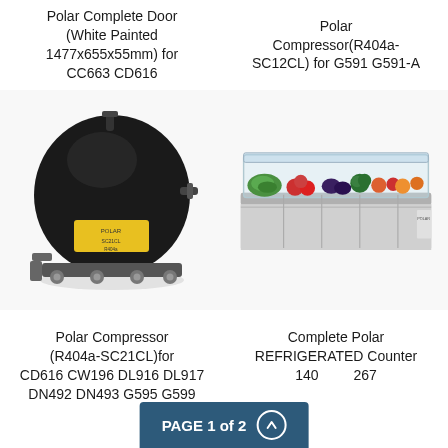Polar Complete Door (White Painted 1477x655x55mm) for CC663 CD616
Polar Compressor(R404a-SC12CL) for G591 G591-A
[Figure (photo): A black refrigeration compressor unit with yellow label and mounting brackets (Polar R404a-SC21CL compressor)]
[Figure (photo): A stainless steel refrigerated counter/saladette unit with glass cover showing compartments filled with various fresh vegetables and ingredients]
Polar Compressor (R404a-SC21CL)for CD616 CW196 DL916 DL917 DN492 DN493 G595 G599
Complete Polar REFRIGERATED Counter 140...267
PAGE 1 of 2